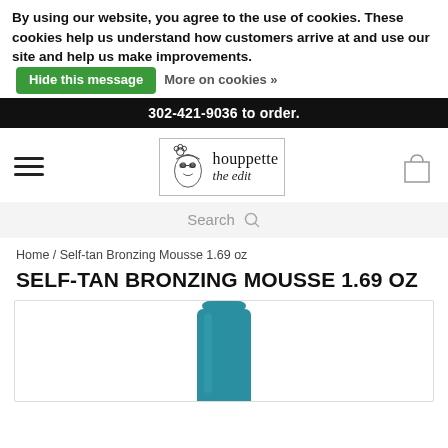By using our website, you agree to the use of cookies. These cookies help us understand how customers arrive at and use our site and help us make improvements.   [Hide this message]   More on cookies »
302-421-9036 to order.
[Figure (logo): Houppette the edit logo with illustrated face]
Search
Home / Self-tan Bronzing Mousse 1.69 oz
SELF-TAN BRONZING MOUSSE 1.69 OZ
[Figure (photo): Top portion of a teal/blue self-tan bronzing mousse can]